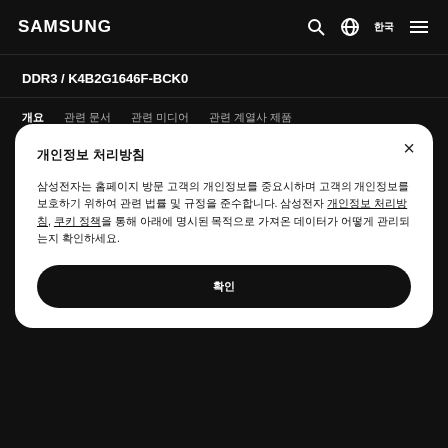SAMSUNG
DDR3 / K4B2G1646F-BCK0
개요  관련 문서  관련 미디어  관련 계열사 제품
삼성전자 DRAM DDR3, 제품 세부 사양표와 관련 자료 모음
개인정보 처리방침

삼성전자는 홈페이지 방문 고객의 개인정보를 중요시하며 고객의 개인정보를 보호하기 위하여 관련 법률 및 규정을 준수합니다. 삼성전자 개인정보 처리방침, 쿠키 정책을 통해 아래에 명시된 목적으로 가져온 데이터가 어떻게 관리되는지 확인하세요.

확인